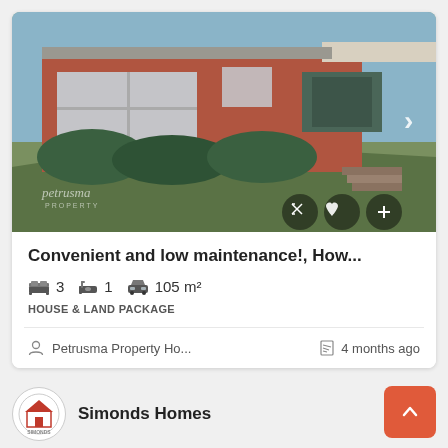[Figure (photo): Exterior photo of a single-storey red brick house with green lawn and hedges, watermarked 'petrusma PROPERTY'. Navigation arrow on right side, action icons (expand, heart, plus) at bottom right.]
Convenient and low maintenance!, How...
3  1  105 m²
HOUSE & LAND PACKAGE
Petrusma Property Ho...
4 months ago
Simonds Homes